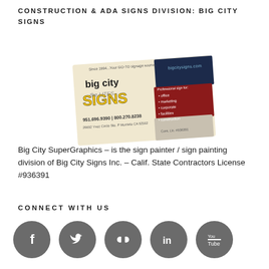CONSTRUCTION & ADA SIGNS DIVISION: BIG CITY SIGNS
[Figure (photo): Business card for Big City Signs showing logo, phone numbers 951.696.9390 | 800.270.8238, address 26692 Ynez Circle Ste. P Murrieta CA 92562, and services: office, marketing, corporate, facilities, construction. Website: bigcitysigns.com]
Big City SuperGraphics – is the sign painter / sign painting division of Big City Signs Inc. – Calif. State Contractors License #936391
CONNECT WITH US
[Figure (illustration): Five social media icon circles in gray: Facebook, Twitter, Flickr, LinkedIn, YouTube]